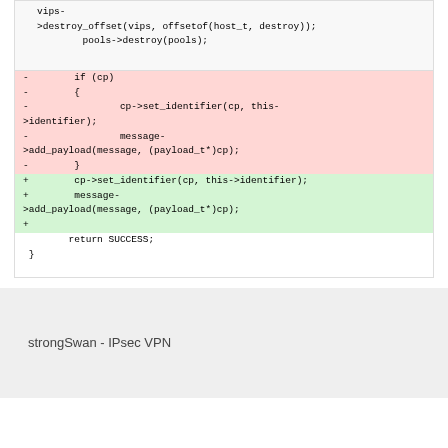vips-
>destroy_offset(vips, offsetof(host_t, destroy));
        pools->destroy(pools);
-        if (cp)
-        {
-                cp->set_identifier(cp, this->identifier);
-                message->add_payload(message, (payload_t*)cp);
-        }
+        cp->set_identifier(cp, this->identifier);
+        message->add_payload(message, (payload_t*)cp);
+
        return SUCCESS;
 }
strongSwan - IPsec VPN